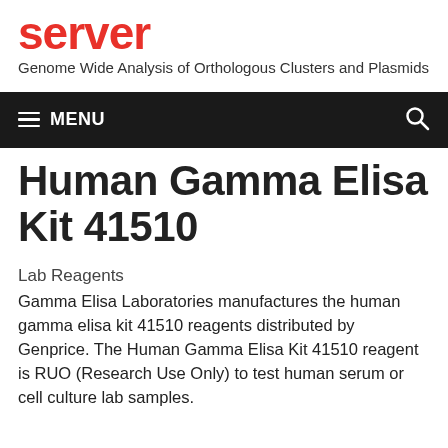server
Genome Wide Analysis of Orthologous Clusters and Plasmids
Human Gamma Elisa Kit 41510
Lab Reagents
Gamma Elisa Laboratories manufactures the human gamma elisa kit 41510 reagents distributed by Genprice. The Human Gamma Elisa Kit 41510 reagent is RUO (Research Use Only) to test human serum or cell culture lab samples.